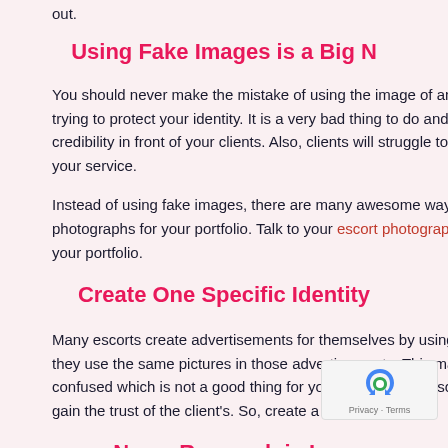out.
Using Fake Images is a Big N
You should never make the mistake of using the image of anot trying to protect your identity. It is a very bad thing to do and credibility in front of your clients. Also, clients will struggle to tr your service.
Instead of using fake images, there are many awesome ways photographs for your portfolio. Talk to your escort photograp your portfolio.
Create One Specific Identity
Many escorts create advertisements for themselves by using they use the same pictures in those advertisements. This mak confused which is not a good thing for your career as an escor gain the trust of the client's. So, create a specific ide
Name Research is Im